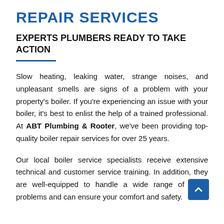REPAIR SERVICES
EXPERTS PLUMBERS READY TO TAKE ACTION
Slow heating, leaking water, strange noises, and unpleasant smells are signs of a problem with your property's boiler. If you're experiencing an issue with your boiler, it's best to enlist the help of a trained professional. At ABT Plumbing & Rooter, we've been providing top-quality boiler repair services for over 25 years.
Our local boiler service specialists receive extensive technical and customer service training. In addition, they are well-equipped to handle a wide range of boiler problems and can ensure your comfort and safety.